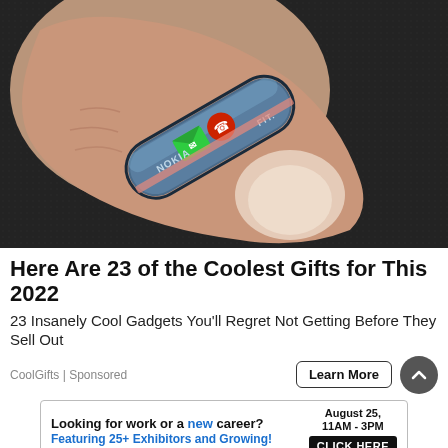[Figure (photo): Close-up photo of a finger wearing a Nokia FIT ring-shaped smart gadget device, showing green envelope and red phone icons on a dark textured background. The device has 'NOKIA' and 'FIT.' text on it.]
Here Are 23 of the Coolest Gifts for This 2022
23 Insanely Cool Gadgets You'll Regret Not Getting Before They Sell Out
CoolGifts | Sponsored
Learn More
[Figure (infographic): Advertisement banner: Looking for work or a new career? August 25, 11AM - 3PM. Featuring 25+ Exhibitors and Growing! CLICK HERE]
Looking for work or a new career? August 25, 11AM - 3PM Featuring 25+ Exhibitors and Growing! CLICK HERE